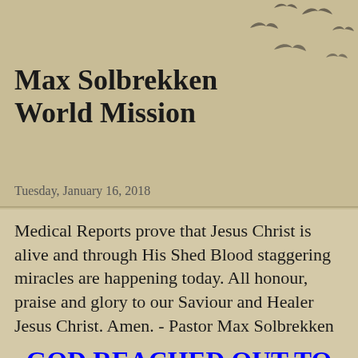[Figure (illustration): Silhouettes of birds flying, scattered across the upper right portion of the header background]
Max Solbrekken World Mission
Tuesday, January 16, 2018
Medical Reports prove that Jesus Christ is alive and through His Shed Blood staggering miracles are happening today. All honour, praise and glory to our Saviour and Healer Jesus Christ. Amen. - Pastor Max Solbrekken
GOD REACHED OUT TO ME